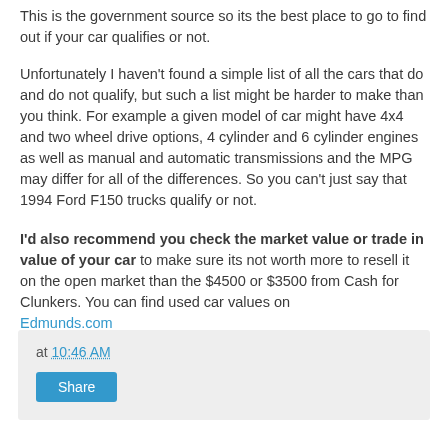This is the government source so its the best place to go to find out if your car qualifies or not.
Unfortunately I haven't found a simple list of all the cars that do and do not qualify, but such a list might be harder to make than you think. For example a given model of car might have 4x4 and two wheel drive options, 4 cylinder and 6 cylinder engines as well as manual and automatic transmissions and the MPG may differ for all of the differences. So you can't just say that 1994 Ford F150 trucks qualify or not.
I'd also recommend you check the market value or trade in value of your car to make sure its not worth more to resell it on the open market than the $4500 or $3500 from Cash for Clunkers. You can find used car values on Edmunds.com
at 10:46 AM
Share